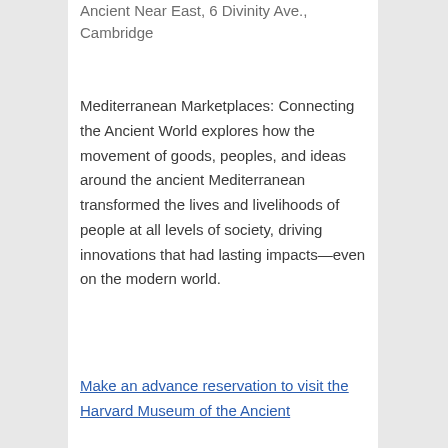Ancient Near East, 6 Divinity Ave., Cambridge
Mediterranean Marketplaces: Connecting the Ancient World explores how the movement of goods, peoples, and ideas around the ancient Mediterranean transformed the lives and livelihoods of people at all levels of society, driving innovations that had lasting impacts—even on the modern world.
Make an advance reservation to visit the Harvard Museum of the Ancient